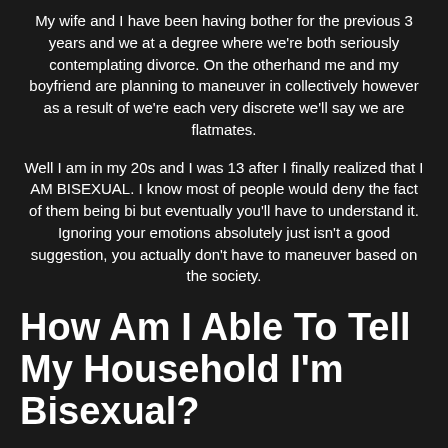My wife and I have been having bother for the previous 3 years and we at a degree where we're both seriously contemplating divorce. On the otherhand me and my boyfriend are planning to maneuver in collectively however as a result of we're each very discrete we'll say we are flatmates.
Well I am in my 20s and I was 13 after I finally realized that I AM BISEXUAL. I know most of people would deny the fact of them being bi but eventually you'll have to understand it. Ignoring your emotions absolutely just isn't a good suggestion, you actually don't have to maneuver based on the society.
How Am I Able To Tell My Household I'm Bisexual?
She may have stopped touching you because she likes you